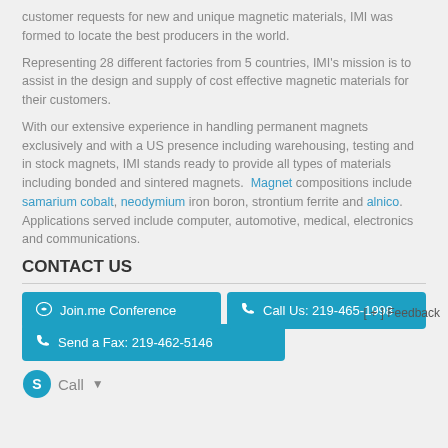customer requests for new and unique magnetic materials, IMI was formed to locate the best producers in the world.
Representing 28 different factories from 5 countries, IMI's mission is to assist in the design and supply of cost effective magnetic materials for their customers.
With our extensive experience in handling permanent magnets exclusively and with a US presence including warehousing, testing and in stock magnets, IMI stands ready to provide all types of materials including bonded and sintered magnets. Magnet compositions include samarium cobalt, neodymium iron boron, strontium ferrite and alnico. Applications served include computer, automotive, medical, electronics and communications.
CONTACT US
Join.me Conference
Call Us: 219-465-1998
[ + ] Feedback
Send a Fax: 219-462-5146
Call